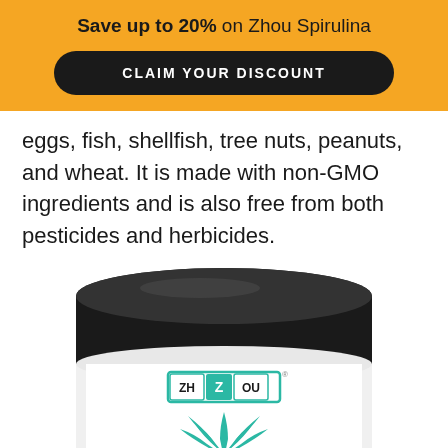Save up to 20% on Zhou Spirulina
CLAIM YOUR DISCOUNT
eggs, fish, shellfish, tree nuts, peanuts, and wheat. It is made with non-GMO ingredients and is also free from both pesticides and herbicides.
[Figure (photo): Zhou Spirulina supplement jar with black lid and teal/white label showing the Zhou logo and Spirulina text with a lotus/leaf graphic]